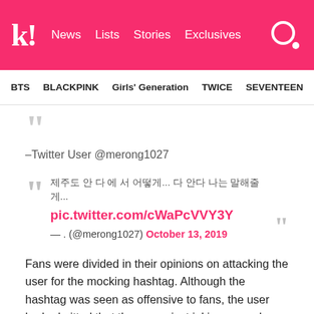k! News Lists Stories Exclusives
BTS BLACKPINK Girls' Generation TWICE SEVENTEEN
“Twitter User @merong1027
제주도 안다 에서 어떻게... 다 안다 나는 말해줄게... pic.twitter.com/cWaPcVVY3Y — . (@merong1027) October 13, 2019
Fans were divided in their opinions on attacking the user for the mocking hashtag. Although the hashtag was seen as offensive to fans, the user had admitted that they were just joking around